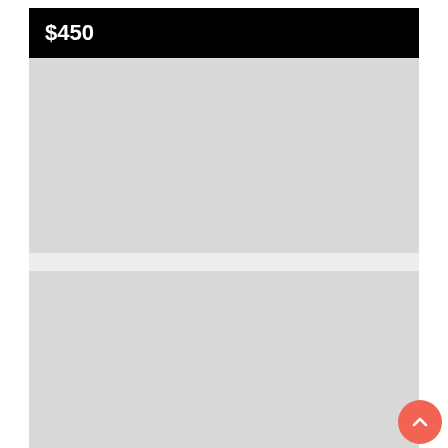$450
[Figure (photo): Placeholder image area split into two panels with a gap, both light gray, representing product photos for a used auto part listing]
USED 0 MERCEDES OM926
MERCEDES ECM
FITCHBURG, MA